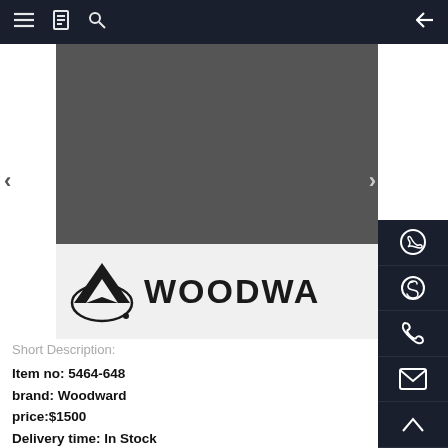Navigation bar with menu, bookmark, search, and back arrow icons
[Figure (photo): Product image area showing a dark grey textured top half and a white lower half with the Woodward brand logo (stylized W and text WOODWA visible, cut off)]
Short Description:
Item no: 5464-648
brand: Woodward
price:$1500
Delivery time: In Stock
Payment: T/T